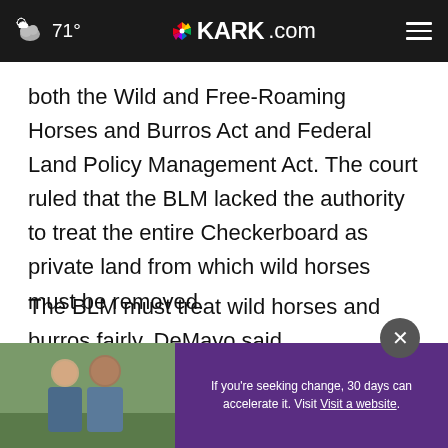71° KARK.com
both the Wild and Free-Roaming Horses and Burros Act and Federal Land Policy Management Act. The court ruled that the BLM lacked the authority to treat the entire Checkerboard as private land from which wild horses must be removed.
The BLM must treat wild horses and burros fairly, DeMayo said.
"Wild [horses are entitled to] n the smallest allocation of land and torage while
[Figure (photo): Advertisement overlay showing two people and a purple promotional banner with text 'If you're seeking change, 30 days can accelerate it. Visit _____.com']